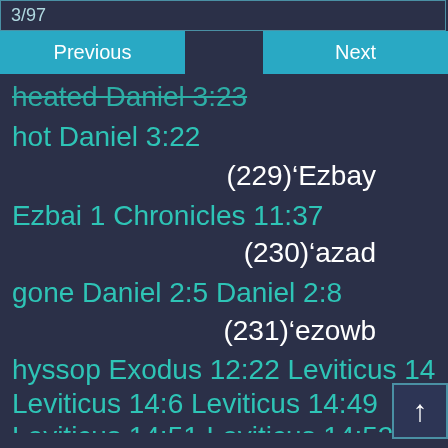3/97
Previous
Next
heated Daniel 3:23
hot Daniel 3:22
(229)'Ezbay
Ezbai 1 Chronicles 11:37
(230)'azad
gone Daniel 2:5 Daniel 2:8
(231)'ezowb
hyssop Exodus 12:22 Leviticus 14: Leviticus 14:6 Leviticus 14:49 Leviticus 14:51 Leviticus 14:52